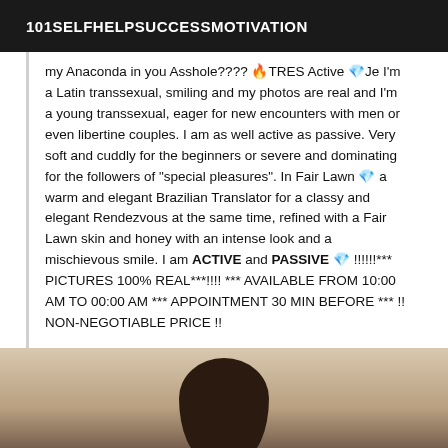101SELFHELPSUCCESSMOTIVATION
my Anaconda in you Asshole???? 🔥TRES Active 💎Je I'm a Latin transsexual, smiling and my photos are real and I'm a young transsexual, eager for new encounters with men or even libertine couples. I am as well active as passive. Very soft and cuddly for the beginners or severe and dominating for the followers of "special pleasures". In Fair Lawn 💎 a warm and elegant Brazilian Translator for a classy and elegant Rendezvous at the same time, refined with a Fair Lawn skin and honey with an intense look and a mischievous smile. I am ACTIVE and PASSIVE 💎 !!!!!!*** PICTURES 100% REAL***!!!! *** AVAILABLE FROM 10:00 AM TO 00:00 AM *** APPOINTMENT 30 MIN BEFORE *** !! NON-NEGOTIABLE PRICE !!
[Figure (photo): Partial photo showing back of person with dark hair against a light background]